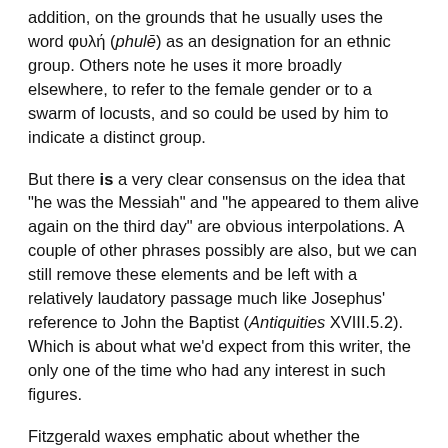addition, on the grounds that he usually uses the word φυλή (phulē) as an designation for an ethnic group.  Others note he uses it more broadly elsewhere, to refer to the female gender or to a swarm of locusts, and so could be used by him to indicate a distinct group.
But there is a very clear consensus on the idea that "he was the Messiah" and "he appeared to them alive again on the third day" are obvious interpolations.  A couple of other phrases possibly are also, but we can still remove these elements and be left with a relatively laudatory passage much like Josephus' reference to John the Baptist (Antiquities XVIII.5.2).  Which is about what we'd expect from this writer, the only one of the time who had any interest in such figures.
Fitzgerald waxes emphatic about whether the passage contains distinctively Josephan language, stating baldly that "Josephan scholars Steve Mason and Ken Olson have both pointed out that the passage does not use Josephus' characteristic language."  It's interesting, by the way, that leading experts on Josephus who hold the view that